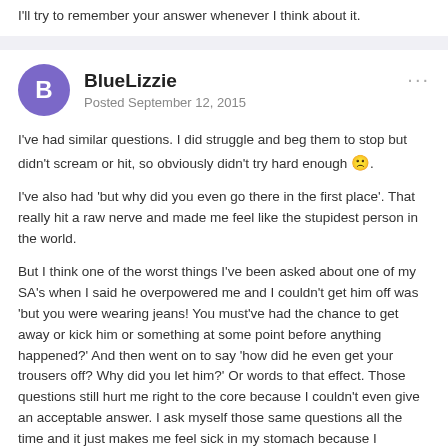I'll try to remember your answer whenever I think about it.
BlueLizzie
Posted September 12, 2015
I've had similar questions. I did struggle and beg them to stop but didn't scream or hit, so obviously didn't try hard enough 🙁.
I've also had 'but why did you even go there in the first place'. That really hit a raw nerve and made me feel like the stupidest person in the world.
But I think one of the worst things I've been asked about one of my SA's when I said he overpowered me and I couldn't get him off was 'but you were wearing jeans! You must've had the chance to get away or kick him or something at some point before anything happened?' And then went on to say 'how did he even get your trousers off? Why did you let him?' Or words to that effect. Those questions still hurt me right to the core because I couldn't even give an acceptable answer. I ask myself those same questions all the time and it just makes me feel sick in my stomach because I